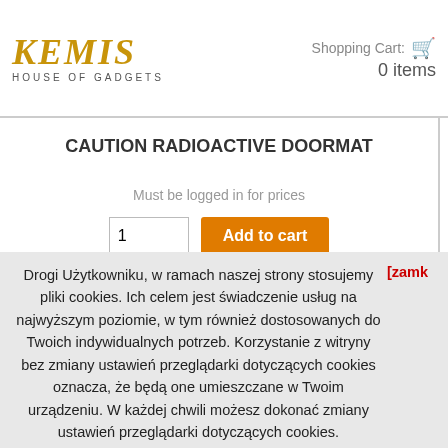Kemiś House of Gadgets — Shopping Cart: 0 items
CAUTION RADIOACTIVE DOORMAT
Must be logged in for prices
Add to cart
Drogi Użytkowniku, w ramach naszej strony stosujemy pliki cookies. Ich celem jest świadczenie usług na najwyższym poziomie, w tym również dostosowanych do Twoich indywidualnych potrzeb. Korzystanie z witryny bez zmiany ustawień przeglądarki dotyczących cookies oznacza, że będą one umieszczane w Twoim urządzeniu. W każdej chwili możesz dokonać zmiany ustawień przeglądarki dotyczących cookies.